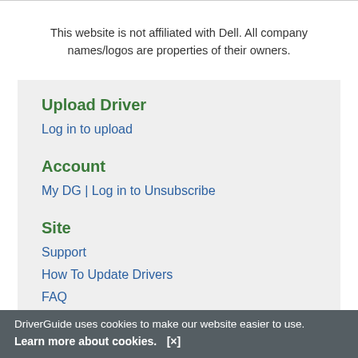This website is not affiliated with Dell. All company names/logos are properties of their owners.
Upload Driver
Log in to upload
Account
My DG | Log in to Unsubscribe
Site
Support
How To Update Drivers
FAQ
About Us
Overview
DriverGuide uses cookies to make our website easier to use.
Learn more about cookies.  [×]